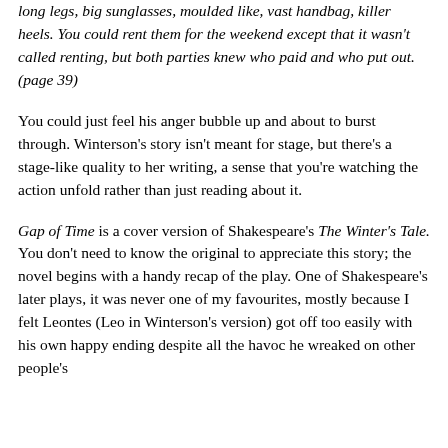long legs, big sunglasses, moulded like, vast handbag, killer heels. You could rent them for the weekend except that it wasn't called renting, but both parties knew who paid and who put out. (page 39)
You could just feel his anger bubble up and about to burst through. Winterson's story isn't meant for stage, but there's a stage-like quality to her writing, a sense that you're watching the action unfold rather than just reading about it.
Gap of Time is a cover version of Shakespeare's The Winter's Tale. You don't need to know the original to appreciate this story; the novel begins with a handy recap of the play. One of Shakespeare's later plays, it was never one of my favourites, mostly because I felt Leontes (Leo in Winterson's version) got off too easily with his own happy ending despite all the havoc he wreaked on other people's